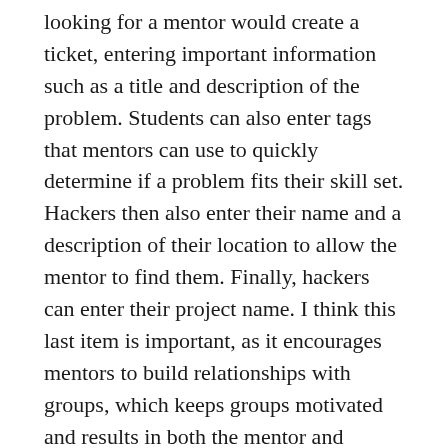looking for a mentor would create a ticket, entering important information such as a title and description of the problem. Students can also enter tags that mentors can use to quickly determine if a problem fits their skill set. Hackers then also enter their name and a description of their location to allow the mentor to find them. Finally, hackers can enter their project name. I think this last item is important, as it encourages mentors to build relationships with groups, which keeps groups motivated and results in both the mentor and hackers leaving feeling more successful.
As a mentor, the view-all ticket page can be used to see active tickets as they come in, then claim the tickets so that other mentors can focus on other groups in need. This can help keep mentors more engaged and feeeling like their time at the hackathon is valued.